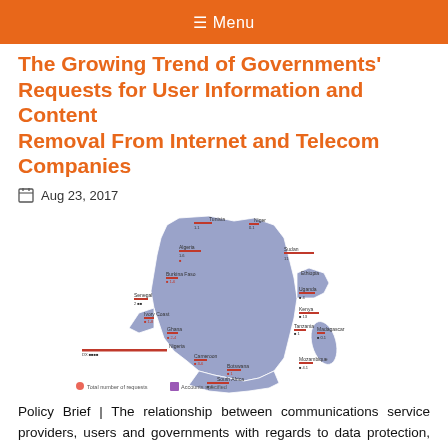≡ Menu
The Growing Trend of Governments' Requests for User Information and Content Removal From Internet and Telecom Companies
Aug 23, 2017
[Figure (map): Map of Africa showing government requests for user information by country, with red bars indicating total number of requests and icons for accounts specified. Countries labeled include Tunisia, Niger, Algeria, Burkina Faso, Senegal, Ivory Coast, Ghana, Nigeria, Ethiopia, Sudan, Uganda, Kenya, Tanzania, Cameroon, Botswana, Madagascar, Mozambique, South Africa, and others.]
Policy Brief | The relationship between communications service providers, users and governments with regards to data protection, requests of user information and content take downs is increasingly taking centre stage in discussions